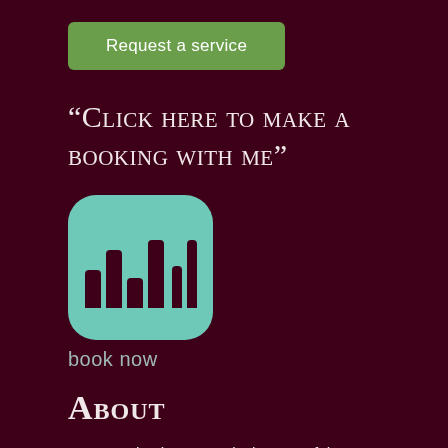Request a service
“Click here to make a booking with me”
[Figure (logo): Teal rounded square logo with dark bar chart bars icon and text 'book now' below]
About
My name is Thorne Davis; it’s one of the many names/aspects I’m known by/hold within myself with a diverse variety of folx and community circles where I’m actively involved with